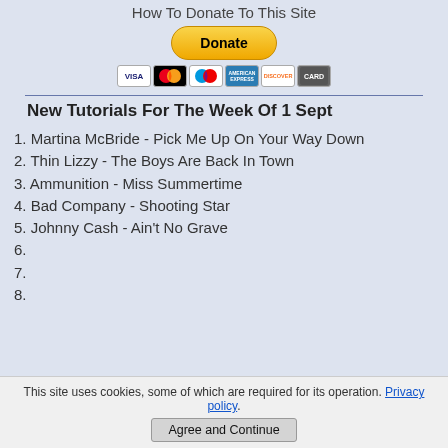How To Donate To This Site
[Figure (other): PayPal Donate button with yellow rounded rectangle and credit card icons (VISA, Mastercard, Maestro, Amex, Discover, and one more)]
New Tutorials For The Week Of 1 Sept
1. Martina McBride - Pick Me Up On Your Way Down
2. Thin Lizzy - The Boys Are Back In Town
3. Ammunition - Miss Summertime
4. Bad Company - Shooting Star
5. Johnny Cash - Ain't No Grave
6.
7.
8.
This site uses cookies, some of which are required for its operation. Privacy policy. Agree and Continue